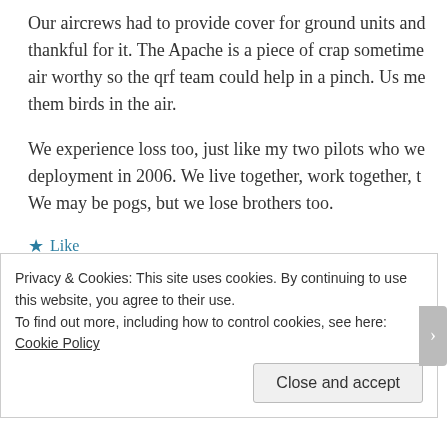Our aircrews had to provide cover for ground units and thankful for it. The Apache is a piece of crap sometime air worthy so the qrf team could help in a pinch. Us me them birds in the air.
We experience loss too, just like my two pilots who we deployment in 2006. We live together, work together, t We may be pogs, but we lose brothers too.
★ Like
Mike says:
November 18, 2014 at 12:45
Privacy & Cookies: This site uses cookies. By continuing to use this website, you agree to their use.
To find out more, including how to control cookies, see here: Cookie Policy
Close and accept